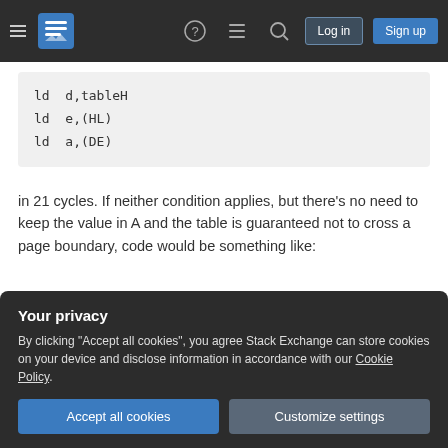Stack Exchange navigation bar with Log in and Sign up buttons
[Figure (screenshot): Code block showing assembly instructions: ld d,tableH / ld e,(HL) / ld a,(DE)]
in 21 cycles. If neither condition applies, but there's no need to keep the value in A and the table is guaranteed not to cross a page boundary, code would be something like:
[Figure (screenshot): Code block showing assembly instruction: ld a,(index)]
Your privacy
By clicking "Accept all cookies", you agree Stack Exchange can store cookies on your device and disclose information in accordance with our Cookie Policy.
Accept all cookies    Customize settings